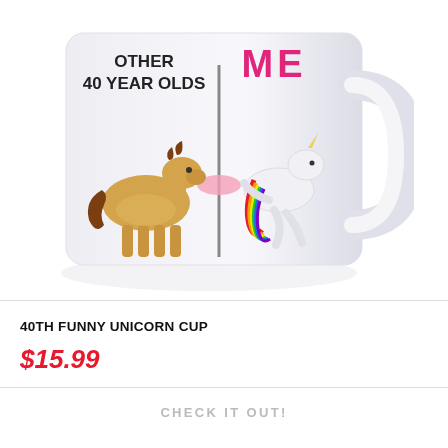[Figure (photo): White ceramic coffee mug with humorous birthday design. Text on mug reads 'OTHER 40 YEAR OLDS' on the left with a cartoon horse, and 'ME' in pink dotted letters on the right with a rainbow unicorn on a pole. The mug has a large handle on the right side.]
40TH FUNNY UNICORN CUP
$15.99
CHECK IT OUT!